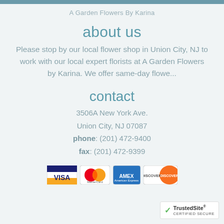A Garden Flowers By Karina
about us
Please stop by our local flower shop in Union City, NJ to work with our local expert florists at A Garden Flowers by Karina. We offer same-day flowe...
contact
3506A New York Ave.
Union City, NJ 07087
phone: (201) 472-9400
fax: (201) 472-9399
[Figure (illustration): Payment method logos: Visa, MasterCard, American Express, Discover]
[Figure (logo): TrustedSite Certified Secure badge]